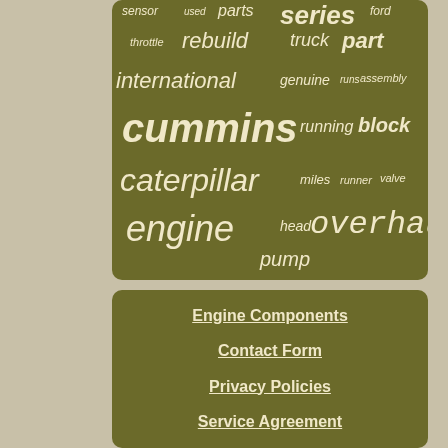[Figure (infographic): Word cloud on olive/dark yellow background featuring engine and truck related terms. Largest words: cummins, caterpillar, engine, overhaul, series, part, block. Medium words: rebuild, truck, international, running, engine. Smaller words: sensor, used, parts, ford, throttle, genuine, runs, assembly, miles, runner, valve, head, pump.]
Engine Components
Contact Form
Privacy Policies
Service Agreement